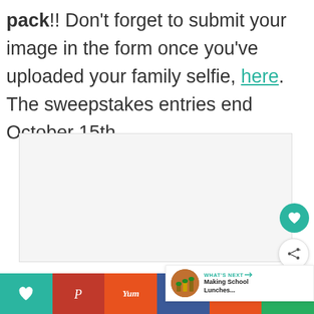pack!! Don't forget to submit your image in the form once you've uploaded your family selfie, here. The sweepstakes entries end October 15th.
[Figure (other): Embedded form widget area (light gray box)]
[Figure (infographic): Bottom social sharing bar with heart, Pinterest, Yummly, Facebook, Reddit, email buttons and What's Next panel]